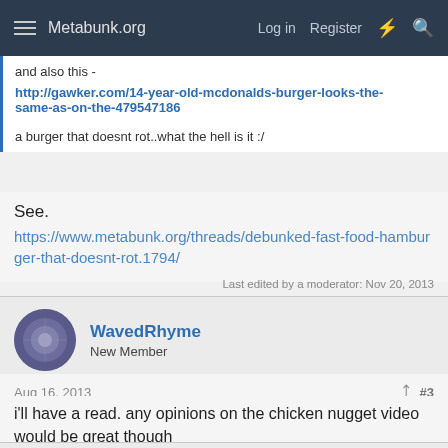Metabunk.org — Log in  Register
and also this - http://gawker.com/14-year-old-mcdonalds-burger-looks-the-same-as-on-the-479547186

a burger that doesnt rot..what the hell is it :/
See.
https://www.metabunk.org/threads/debunked-fast-food-hamburger-that-doesnt-rot.1794/
Last edited by a moderator: Nov 20, 2013
WavedRhyme
New Member
Aug 16, 2013  #3
i'll have a read. any opinions on the chicken nugget video would be great though
Soulfly